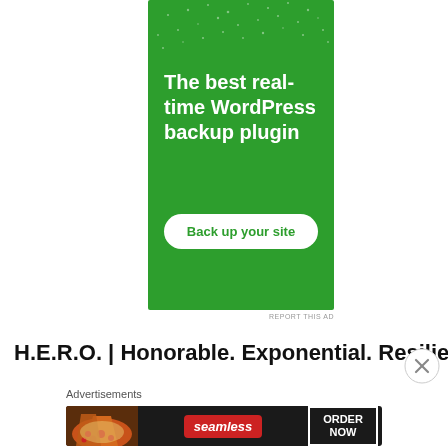[Figure (illustration): Green background advertisement for WordPress backup plugin. White bold text reads 'The best real-time WordPress backup plugin' with a white rounded button that says 'Back up your site' in green.]
REPORT THIS AD
H.E.R.O. | Honorable. Exponential. Resilient.
Advertisements
[Figure (illustration): Seamless food delivery advertisement on dark background showing pizza slices on left, Seamless red logo in center, and ORDER NOW button on right.]